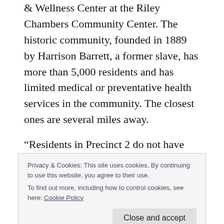& Wellness Center at the Riley Chambers Community Center. The historic community, founded in 1889 by Harrison Barrett, a former slave, has more than 5,000 residents and has limited medical or preventative health services in the community. The closest ones are several miles away.
“Residents in Precinct 2 do not have quick access to these type of facilities. This year, I am making health care access a major priority. I want to improve access, increase resources, and
Privacy & Cookies: This site uses cookies. By continuing to use this website, you agree to their use.
To find out more, including how to control cookies, see here: Cookie Policy
10:30 a.m. inside the Precinct 2 Riley Chambers